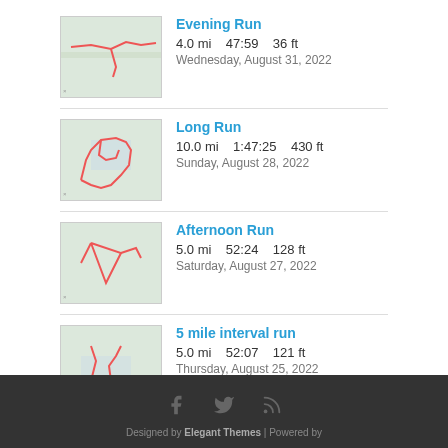Evening Run
4.0 mi   47:59   36 ft
Wednesday, August 31, 2022
Long Run
10.0 mi   1:47:25   430 ft
Sunday, August 28, 2022
Afternoon Run
5.0 mi   52:24   128 ft
Saturday, August 27, 2022
5 mile interval run
5.0 mi   52:07   121 ft
Thursday, August 25, 2022
[Figure (logo): STRAVA logo in orange italic bold text]
View all of Sandra's activity »
Designed by Elegant Themes | Powered by